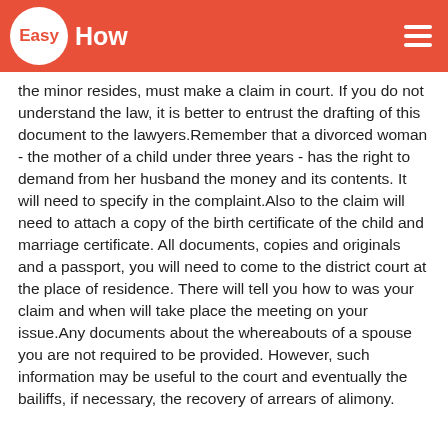EasyHow
the minor resides, must make a claim in court. If you do not understand the law, it is better to entrust the drafting of this document to the lawyers.Remember that a divorced woman - the mother of a child under three years - has the right to demand from her husband the money and its contents. It will need to specify in the complaint.Also to the claim will need to attach a copy of the birth certificate of the child and marriage certificate. All documents, copies and originals and a passport, you will need to come to the district court at the place of residence. There will tell you how to was your claim and when will take place the meeting on your issue.Any documents about the whereabouts of a spouse you are not required to be provided. However, such information may be useful to the court and eventually the bailiffs, if necessary, the recovery of arrears of alimony.